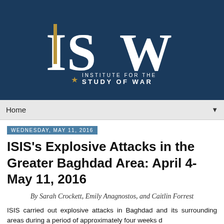[Figure (logo): ISW - Institute for the Study of War logo. White serif letters I, S, W on dark navy blue background. Gold star and text 'INSTITUTE FOR THE STUDY OF WAR' below.]
Home ▼
Wednesday, May 11, 2016
ISIS's Explosive Attacks in the Greater Baghdad Area: April 4-May 11, 2016
By Sarah Crockett, Emily Anagnostos, and Caitlin Forrest
ISIS carried out explosive attacks in Baghdad and its surrounding areas during a period of approximately four weeks d